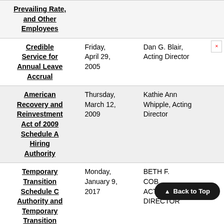|  | Date | Issued By |  |
| --- | --- | --- | --- |
| Prevailing Rate, and Other Employees |  |  |  |
| Credible Service for Annual Leave Accrual | Friday, April 29, 2005 | Dan G. Blair, Acting Director |  |
| American Recovery and Reinvestment Act of 2009 Schedule A Hiring Authority | Thursday, March 12, 2009 | Kathie Ann Whipple, Acting Director |  |
| Temporary Transition Schedule C Authority and Temporary Transition | Monday, January 9, 2017 | BETH F. COB[...] ACTI[...] DIRECTOR |  |